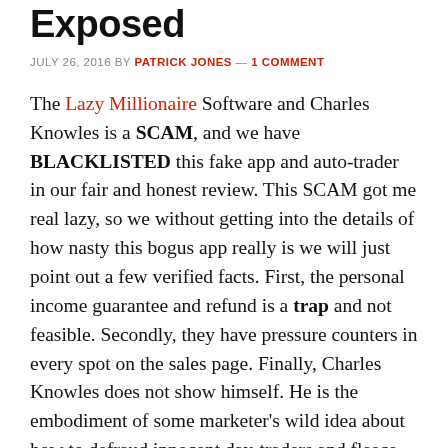Exposed
JULY 26, 2016 BY PATRICK JONES — 1 COMMENT
The Lazy Millionaire Software and Charles Knowles is a SCAM, and we have BLACKLISTED this fake app and auto-trader in our fair and honest review. This SCAM got me real lazy, so we without getting into the details of how nasty this bogus app really is we will just point out a few verified facts. First, the personal income guarantee and refund is a trap and not feasible. Secondly, they have pressure counters in every spot on the sales page. Finally, Charles Knowles does not show himself. He is the embodiment of some marketer's wild idea about how to defraud innocent day-traders and fleece their wallets real quick. We have a zero tolerance level for